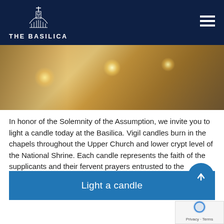THE BASILICA
[Figure (photo): Warm candlelit chapel interior with bokeh lighting, golden amber tones, vigil candles visible]
In honor of the Solemnity of the Assumption, we invite you to light a candle today at the Basilica. Vigil candles burn in the chapels throughout the Upper Church and lower crypt level of the National Shrine. Each candle represents the faith of the supplicants and their fervent prayers entrusted to the intercession of the Blessed Mother.
Light a candle